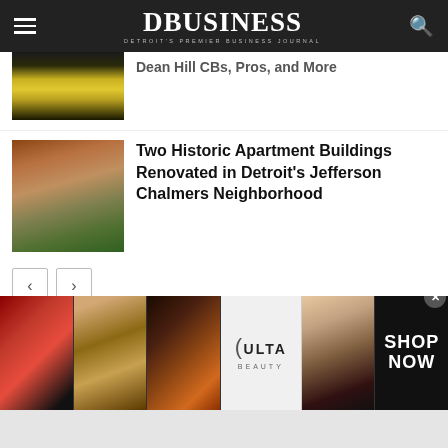DBUSINESS — DETROIT'S PREMIER BUSINESS JOURNAL
[Figure (photo): Partial view of people in yellow and black uniforms (marching band or sports team)]
Two Historic Apartment Buildings Renovated in Detroit's Jefferson Chalmers Neighborhood
[Figure (photo): Brick historic apartment building with trees in front]
[Figure (photo): Ulta Beauty advertisement banner with makeup images, Ulta logo, and SHOP NOW text]